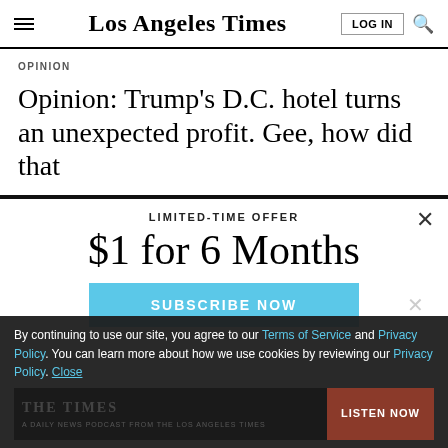Los Angeles Times
OPINION
Opinion: Trump's D.C. hotel turns an unexpected profit. Gee, how did that
LIMITED-TIME OFFER
$1 for 6 Months
SUBSCRIBE NOW
By continuing to use our site, you agree to our Terms of Service and Privacy Policy. You can learn more about how we use cookies by reviewing our Privacy Policy. Close